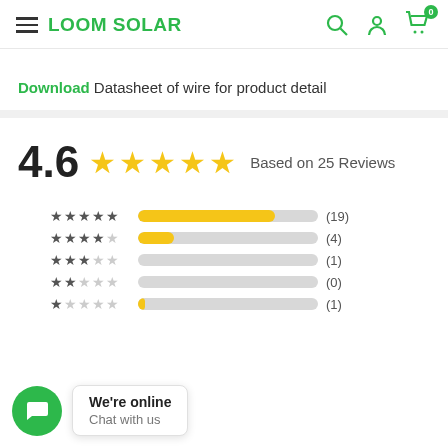LOOM SOLAR
Download Datasheet of wire for product detail
4.6  ★★★★★  Based on 25 Reviews
| Stars | Bar | Count |
| --- | --- | --- |
| ★★★★★ | 19/25 | (19) |
| ★★★★☆ | 4/25 | (4) |
| ★★★☆☆ | 1/25 | (1) |
| ★★☆☆☆ | 0/25 | (0) |
| ★☆☆☆☆ | 1/25 | (1) |
We're online
Chat with us